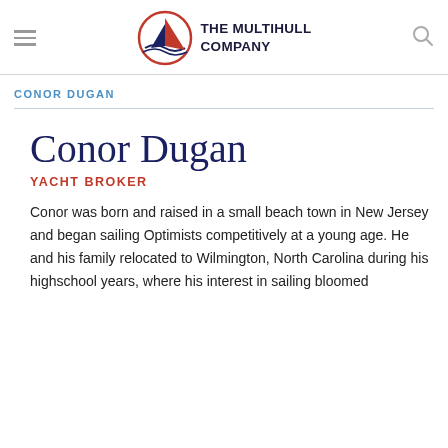THE MULTIHULL COMPANY
CONOR DUGAN
Conor Dugan
YACHT BROKER
Conor was born and raised in a small beach town in New Jersey and began sailing Optimists competitively at a young age. He and his family relocated to Wilmington, North Carolina during his highschool years, where his interest in sailing bloomed